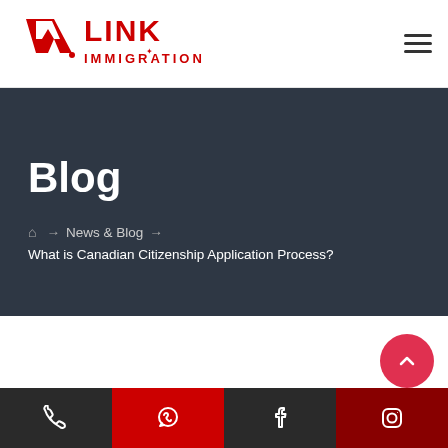[Figure (logo): VLink Immigration logo with red V-shape/checkmark and red text LINK IMMIGRATION]
Blog
⌂ → News & Blog → What is Canadian Citizenship Application Process?
Phone | WhatsApp | Facebook | Instagram